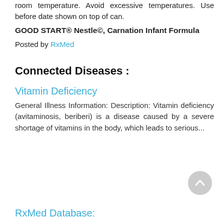room temperature. Avoid excessive temperatures. Use before date shown on top of can.
GOOD START® Nestle©, Carnation Infant Formula
Posted by RxMed
Connected Diseases :
Vitamin Deficiency
General Illness Information: Description: Vitamin deficiency (avitaminosis, beriberi) is a disease caused by a severe shortage of vitamins in the body, which leads to serious...
[Figure (other): Gray circular scroll-to-top button with upward arrow icon]
RxMed Database: